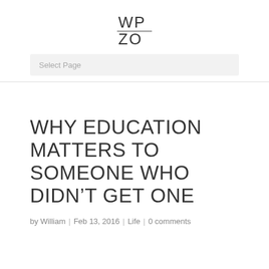WPZO
Select Page
WHY EDUCATION MATTERS TO SOMEONE WHO DIDN’T GET ONE
by William | Feb 13, 2016 | Life | 0 comments